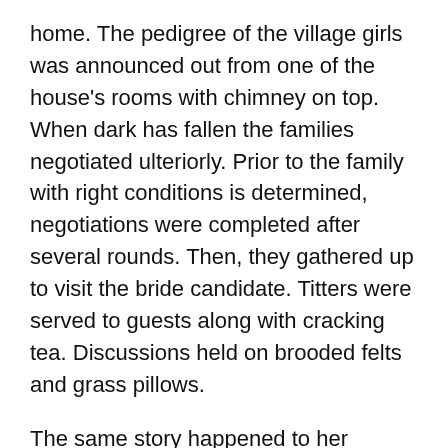home. The pedigree of the village girls was announced out from one of the house's rooms with chimney on top. When dark has fallen the families negotiated ulteriorly. Prior to the family with right conditions is determined, negotiations were completed after several rounds. Then, they gathered up to visit the bride candidate. Titters were served to guests along with cracking tea. Discussions held on brooded felts and grass pillows.
The same story happened to her following her friends. Her unfortunate was explained to her with a few words. The northwester dropped frost into her heart. Two drops of tear became words on her lip. She has thought of her flower smelling love master.
Her father and mother walked on the way to the road routes to the center of city in the morning. The weather